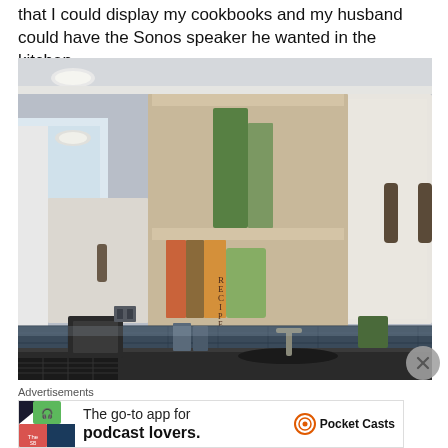that I could display my cookbooks and my husband could have the Sonos speaker he wanted in the kitchen.
[Figure (photo): Interior photo of a modern kitchen showing white upper cabinets with open shelving displaying cookbooks and a green bag, dark blue subway tile backsplash, black countertop with sink and faucet, and a small appliance visible on the counter. Cabinet doors have dark hardware handles.]
Advertisements
[Figure (other): Advertisement banner for Pocket Casts app: colorful app icon on left, text 'The go-to app for podcast lovers.' in center, Pocket Casts logo and name on right]